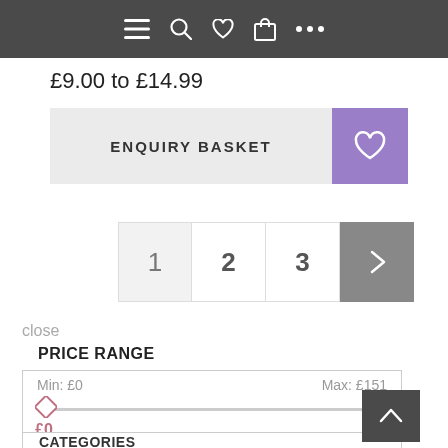[Figure (screenshot): Top navigation bar with hamburger menu, search, heart/wishlist, bag/cart icons and ellipsis on dark grey background]
£9.00 to £14.99
[Figure (screenshot): Enquiry Basket button (light grey) with heart icon button (purple) on the right]
[Figure (screenshot): Pagination controls showing pages 1, 2, 3 and a next arrow button (dark grey)]
close
PRICE RANGE
[Figure (screenshot): Price range slider with Min: £0 and Max: £151, showing diamond-shaped thumb at left, current values £0 and £1... in pink]
CATEGORIES